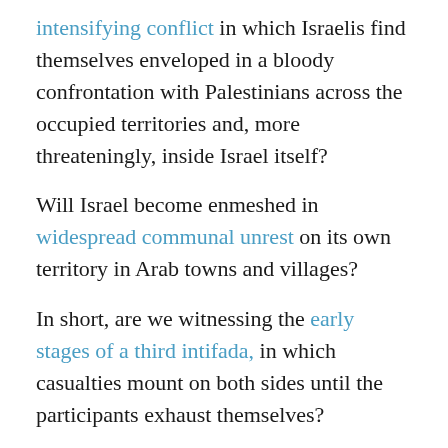intensifying conflict in which Israelis find themselves enveloped in a bloody confrontation with Palestinians across the occupied territories and, more threateningly, inside Israel itself?
Will Israel become enmeshed in widespread communal unrest on its own territory in Arab towns and villages?
In short, are we witnessing the early stages of a third intifada, in which casualties mount on both sides until the participants exhaust themselves?
We've seen all this before – in 1987 and 2000. Then, as now, violence spread from territories occupied in the 1967 war into Israel itself.